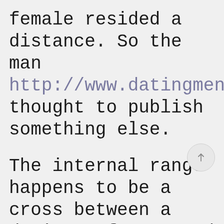female resided a distance. So the man http://www.datingmentor.org/cucamonga thought to publish something else.
The internal range happens to be a cross between a dating software and a parties company. It organises personal parties for